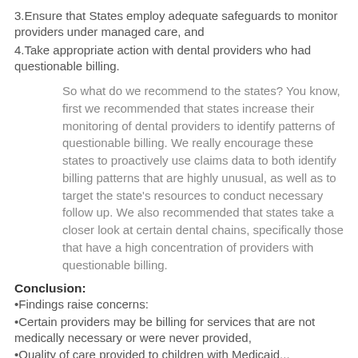3.Ensure that States employ adequate safeguards to monitor providers under managed care, and
4.Take appropriate action with dental providers who had questionable billing.
So what do we recommend to the states? You know, first we recommended that states increase their monitoring of dental providers to identify patterns of questionable billing. We really encourage these states to proactively use claims data to both identify billing patterns that are highly unusual, as well as to target the state's resources to conduct necessary follow up. We also recommended that states take a closer look at certain dental chains, specifically those that have a high concentration of providers with questionable billing.
Conclusion:
•Findings raise concerns:
•Certain providers may be billing for services that are not medically necessary or were never provided,
•Quality of care provided to children with Medicaid...